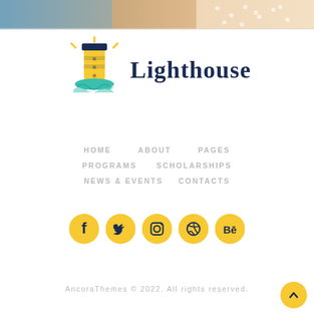[Figure (photo): Partial photo strip at the top showing people, cropped at top of frame]
[Figure (logo): Lighthouse logo: cartoon lighthouse illustration with yellow light rays and teal base, next to text 'Lighthouse' in dark navy serif font]
HOME   ABOUT   PAGES
PROGRAMS   SCHOLARSHIPS
NEWS & EVENTS   CONTACTS
[Figure (infographic): Five round yellow social media icon buttons: Facebook (f), Twitter (bird), Instagram (camera), Dribbble (ball), Behance (Be)]
AncoraThemes © 2022. All rights reserved.